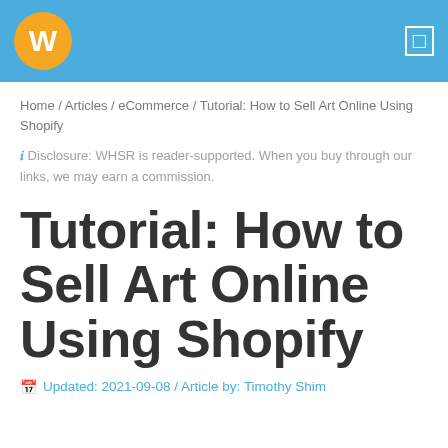W [logo] [menu icon]
Home / Articles / eCommerce / Tutorial: How to Sell Art Online Using Shopify
ℹ Disclosure: WHSR is reader-supported. When you buy through our links, we may earn a commission.
Tutorial: How to Sell Art Online Using Shopify
📅 Updated: 2021-09-08 / Article by: Timothy Shim